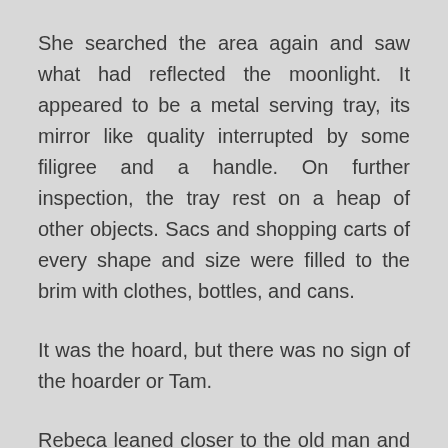She searched the area again and saw what had reflected the moonlight. It appeared to be a metal serving tray, its mirror like quality interrupted by some filigree and a handle. On further inspection, the tray rest on a heap of other objects. Sacs and shopping carts of every shape and size were filled to the brim with clothes, bottles, and cans.
It was the hoard, but there was no sign of the hoarder or Tam.
Rebeca leaned closer to the old man and outlined her plan. She would circle the hoard and locate Tam. She would then distract the Hoarder and lead him back into the open where the old man would blind him. The plan felt wrong to her, and it took a moment to